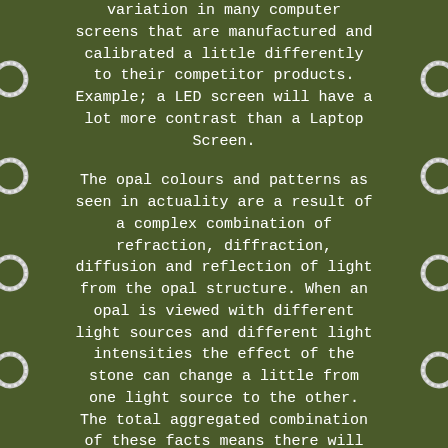variation in many computer screens that are manufactured and calibrated a little differently to their competitor products. Example; a LED screen will have a lot more contrast than a Laptop Screen.

The opal colours and patterns as seen in actuality are a result of a complex combination of refraction, diffraction, diffusion and reflection of light from the opal structure. When an opal is viewed with different light sources and different light intensities the effect of the stone can change a little from one light source to the other. The total aggregated combination of these facts means there will be some degree of inaccuracy when representing opal with digital